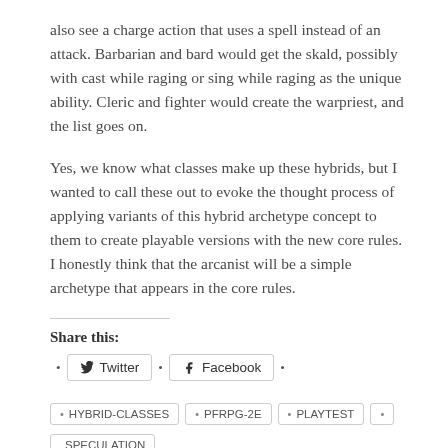also see a charge action that uses a spell instead of an attack. Barbarian and bard would get the skald, possibly with cast while raging or sing while raging as the unique ability. Cleric and fighter would create the warpriest, and the list goes on.
Yes, we know what classes make up these hybrids, but I wanted to call these out to evoke the thought process of applying variants of this hybrid archetype concept to them to create playable versions with the new core rules. I honestly think that the arcanist will be a simple archetype that appears in the core rules.
Share this:
Twitter
Facebook
HYBRID-CLASSES
PFRPG-2E
PLAYTEST
SPECULATION